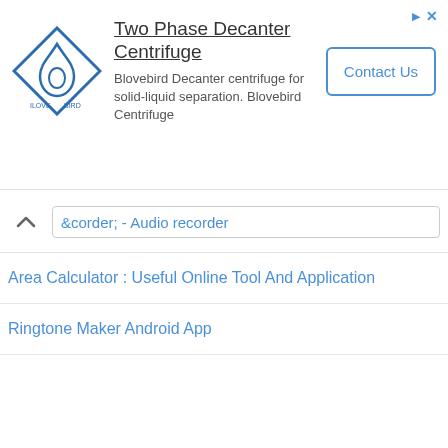[Figure (screenshot): Advertisement banner for Two Phase Decanter Centrifuge by Blovebird with logo, description text, and Contact Us button]
recorder - Audio recorder
Area Calculator : Useful Online Tool And Application
Ringtone Maker Android App